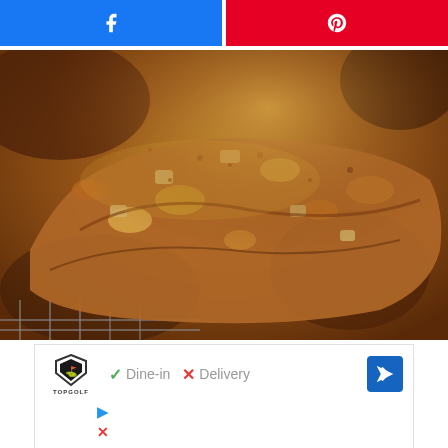[Figure (other): Facebook share button with white Facebook logo icon on blue background]
[Figure (other): Pinterest share button with white Pinterest logo icon on red background]
[Figure (photo): Close-up photo of a cinnamon sugar pull-apart bread or apple cinnamon loaf on a wire cooling rack. The bread has a rustic, caramelized golden-brown top with visible chunks of fruit and sugar topping.]
[Figure (other): Advertisement banner for Topgolf showing logo, dine-in availability checkmark, delivery unavailability X mark, and navigation arrow]